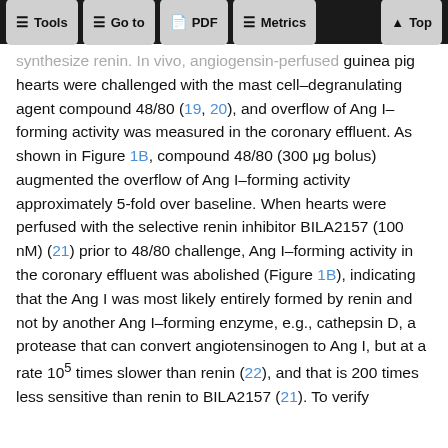Tools | Go to | PDF | Metrics | Top
synthesize renin. In vivo, angiogensin-perfused guinea pig hearts were challenged with the mast cell–degranulating agent compound 48/80 (19, 20), and overflow of Ang I–forming activity was measured in the coronary effluent. As shown in Figure 1B, compound 48/80 (300 μg bolus) augmented the overflow of Ang I–forming activity approximately 5-fold over baseline. When hearts were perfused with the selective renin inhibitor BILA2157 (100 nM) (21) prior to 48/80 challenge, Ang I–forming activity in the coronary effluent was abolished (Figure 1B), indicating that the Ang I was most likely entirely formed by renin and not by another Ang I–forming enzyme, e.g., cathepsin D, a protease that can convert angiotensinogen to Ang I, but at a rate 10⁵ times slower than renin (22), and that is 200 times less sensitive than renin to BILA2157 (21). To verify